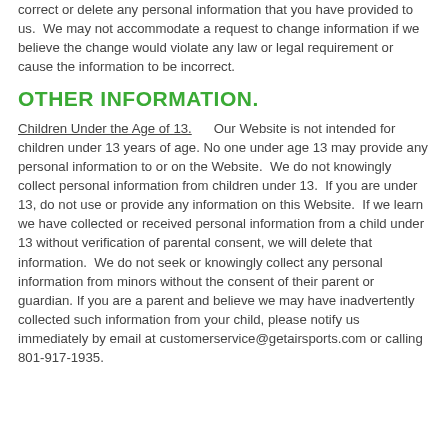correct or delete any personal information that you have provided to us.  We may not accommodate a request to change information if we believe the change would violate any law or legal requirement or cause the information to be incorrect.
OTHER INFORMATION.
Children Under the Age of 13.      Our Website is not intended for children under 13 years of age. No one under age 13 may provide any personal information to or on the Website.  We do not knowingly collect personal information from children under 13.  If you are under 13, do not use or provide any information on this Website.  If we learn we have collected or received personal information from a child under 13 without verification of parental consent, we will delete that information.  We do not seek or knowingly collect any personal information from minors without the consent of their parent or guardian. If you are a parent and believe we may have inadvertently collected such information from your child, please notify us immediately by email at customerservice@getairsports.com or calling 801-917-1935.